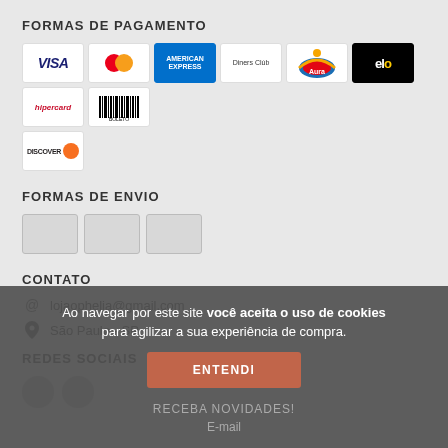FORMAS DE PAGAMENTO
[Figure (logo): Payment method icons: VISA, Mastercard, American Express, Diners Club, Aura, Elo, Hipercard, Boleto, Discover]
FORMAS DE ENVIO
[Figure (logo): Three blank shipping method icon boxes]
CONTATO
@ lojaophelia@gmail.com
São Paulo - SP
REDES SOCIAIS
Ao navegar por este site você aceita o uso de cookies para agilizar a sua experiência de compra.
ENTENDI
RECEBA NOVIDADES!
E-mail